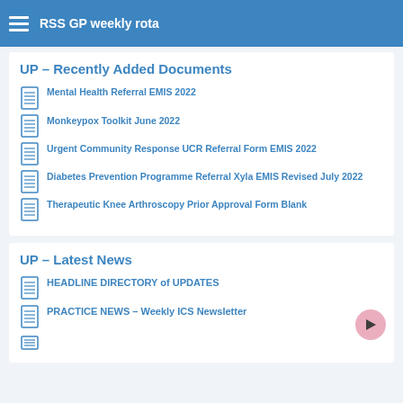RSS GP weekly rota
UP – Recently Added Documents
Mental Health Referral EMIS 2022
Monkeypox Toolkit June 2022
Urgent Community Response UCR Referral Form EMIS 2022
Diabetes Prevention Programme Referral Xyla EMIS Revised July 2022
Therapeutic Knee Arthroscopy Prior Approval Form Blank
UP – Latest News
HEADLINE DIRECTORY of UPDATES
PRACTICE NEWS – Weekly ICS Newsletter